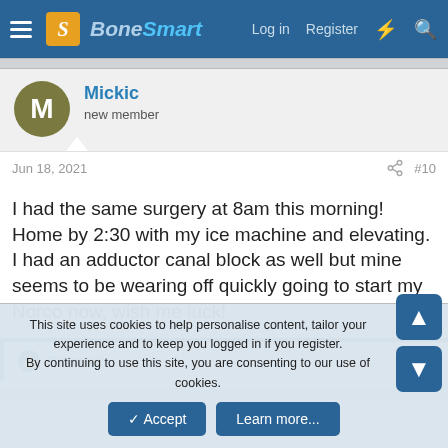BoneSmart — Log in  Register
Mickic
new member
Jun 18, 2021	#10
I had the same surgery at 8am this morning! Home by 2:30 with my ice machine and elevating. I had an adductor canal block as well but mine seems to be wearing off quickly going to start my Norco now, wish me luck!
Sisterpat
This site uses cookies to help personalise content, tailor your experience and to keep you logged in if you register.
By continuing to use this site, you are consenting to our use of cookies.